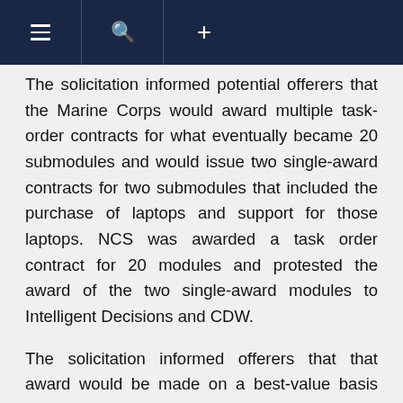≡ 🔍 +
The solicitation informed potential offerers that the Marine Corps would award multiple task-order contracts for what eventually became 20 submodules and would issue two single-award contracts for two submodules that included the purchase of laptops and support for those laptops. NCS was awarded a task order contract for 20 modules and protested the award of the two single-award modules to Intelligent Decisions and CDW.
The solicitation informed offerers that that award would be made on a best-value basis after considering four evaluation factors, one of which was price. Price was evaluated using notional quantities, and the evaluation included Logistical